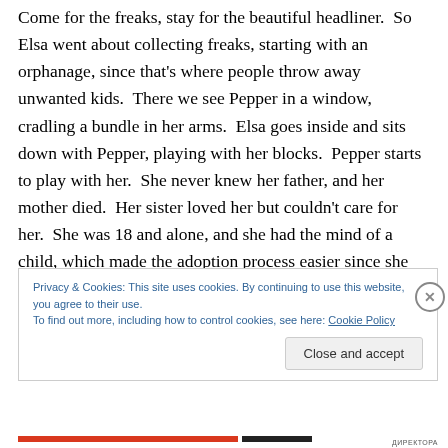Come for the freaks, stay for the beautiful headliner.  So Elsa went about collecting freaks, starting with an orphanage, since that's where people throw away unwanted kids.  There we see Pepper in a window, cradling a bundle in her arms.  Elsa goes inside and sits down with Pepper, playing with her blocks.  Pepper starts to play with her.  She never knew her father, and her mother died.  Her sister loved her but couldn't care for her.  She was 18 and alone, and she had the mind of a child, which made the adoption process easier since she was an adult.  Pepper was Elsa's first Monster.  With
Privacy & Cookies: This site uses cookies. By continuing to use this website, you agree to their use.
To find out more, including how to control cookies, see here: Cookie Policy
Close and accept